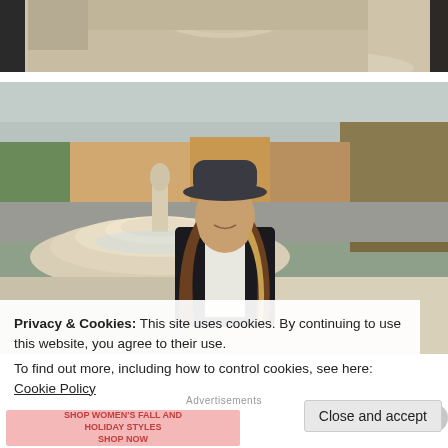[Figure (photo): Partial photo of a woman in a black jacket near a stone fountain, cropped at the top]
[Figure (photo): A woman wearing a black hat and black jacket standing in front of a fountain in an outdoor plaza with trees and buildings in the background]
Privacy & Cookies: This site uses cookies. By continuing to use this website, you agree to their use.
To find out more, including how to control cookies, see here: Cookie Policy
Close and accept
Advertisements